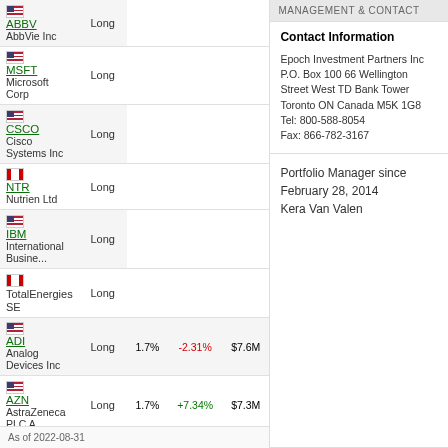| Security | Direction | Weight | Return | Value |
| --- | --- | --- | --- | --- |
| ABBV AbbVie Inc | Long |  |  |  |
| MSFT Microsoft Corp | Long |  |  |  |
| CSCO Cisco Systems Inc | Long |  |  |  |
| NTR Nutrien Ltd | Long |  |  |  |
| IBM International Busine... | Long |  |  |  |
| TotalEnergies SE | Long |  |  |  |
| ADI Analog Devices Inc | Long | 1.7% | -2.31% | $7.6M |
| AZN AstraZeneca PLC A... | Long | 1.7% | +7.34% | $7.3M |
| IRM Iron Mountain Inc | Long | 1.6% | -0.82% | $7.0M |
As of 2022-08-31
MANAGEMENT & CONTACT
Contact Information
Epoch Investment Partners Inc P.O. Box 100 66 Wellington Street West TD Bank Tower Toronto ON Canada M5K 1G8 Tel: 800-588-8054 Fax: 866-782-3167
Portfolio Manager since February 28, 2014 Kera Van Valen